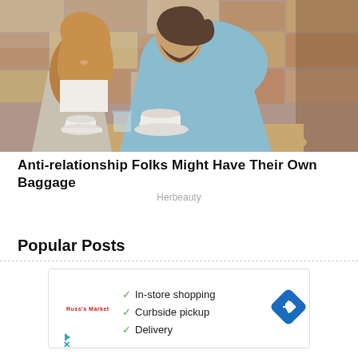[Figure (photo): A couple at a cafe table. A woman with long wavy hair is smiling; a man in a light blue shirt leans toward her. Coffee cups on the table, stone wall background.]
Anti-relationship Folks Might Have Their Own Baggage
Herbeauty
Popular Posts
[Figure (screenshot): Advertisement box showing a store logo (Russ's Market or similar), a checklist with green checkmarks: In-store shopping, Curbside pickup, Delivery. A blue diamond navigation arrow icon on the right.]